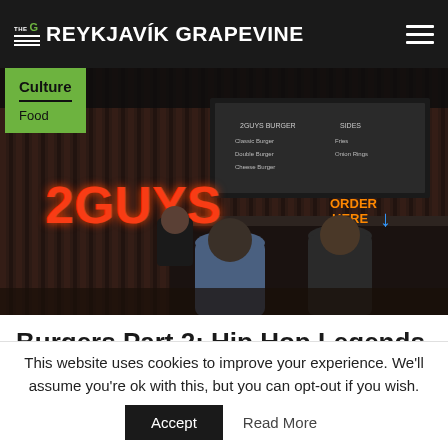THE G REYKJAVIK GRAPEVINE
[Figure (photo): Interior of 2Guys burger restaurant with corrugated metal walls, neon signs reading '2GUYS' and 'ORDER HERE', two customers at the counter, and a chalkboard menu above the counter.]
Burgers Part 2: Hip Hop Legends And Dirty
This website uses cookies to improve your experience. We'll assume you're ok with this, but you can opt-out if you wish.